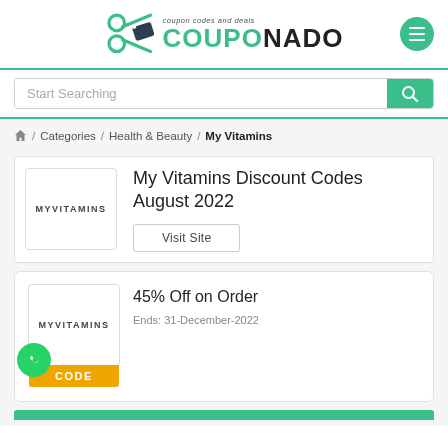[Figure (logo): CouponNado logo with scissors icon and tagline 'coupon codes and deals']
[Figure (other): Search bar with placeholder 'Start Searching' and green search button]
/ Categories / Health & Beauty / My Vitamins
My Vitamins Discount Codes August 2022
Visit Site
45% Off on Order
Ends: 31-December-2022
CODE